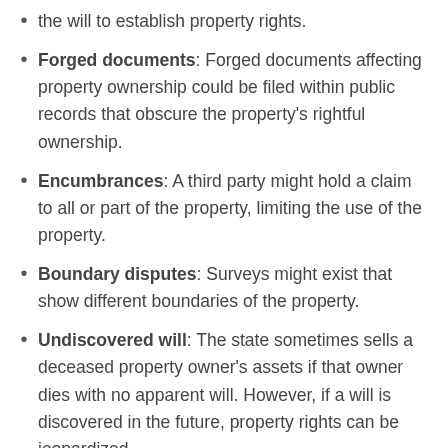the will to establish property rights.
Forged documents: Forged documents affecting property ownership could be filed within public records that obscure the property's rightful ownership.
Encumbrances: A third party might hold a claim to all or part of the property, limiting the use of the property.
Boundary disputes: Surveys might exist that show different boundaries of the property.
Undiscovered will: The state sometimes sells a deceased property owner's assets if that owner dies with no apparent will. However, if a will is discovered in the future, property rights can be jeopardized.
Impersonation: If you buy a home once sold by someone falsely impersonating the property owner, then your legal claim to the property is at risk.
Building code violations: Discovery of unresolved